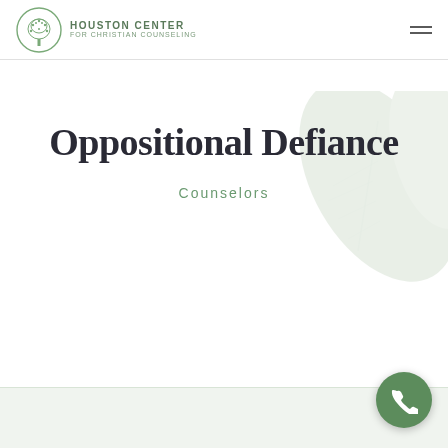Houston Center for Christian Counseling
Oppositional Defiance
Counselors
[Figure (other): Phone call button, circular green icon with telephone handset symbol, bottom right corner]